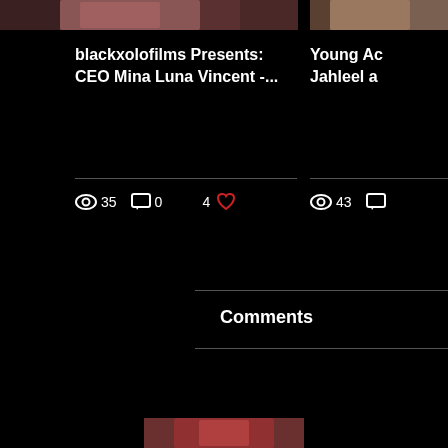[Figure (screenshot): Partial thumbnail image of a video, top left, showing a person]
[Figure (screenshot): Partial thumbnail image of a video, top right, showing a person outdoors]
blackxolofilms Presents: CEO Mina Luna Vincent -...
Young Ac Jahleel a
35 views, 0 comments, 4 likes
43 views, comments (partially visible)
Comments
[Figure (photo): Partial thumbnail image at bottom center]